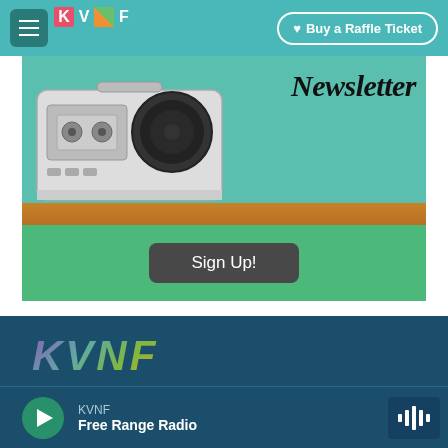KVNF - Buy a Raffle Ticket
[Figure (screenshot): Newsletter banner with vintage boombox/radio illustration on teal and wood-grain background with bold italic 'Newsletter' text]
Sign Up!
[Figure (logo): KVNF colorful gradient logo in teal/dark blue footer area]
KVNF
Free Range Radio